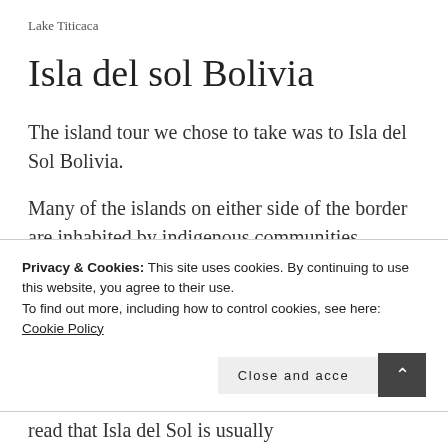Lake Titicaca
Isla del sol Bolivia
The island tour we chose to take was to Isla del Sol Bolivia.
Many of the islands on either side of the border are inhabited by indigenous communities. Ancient cultures, traditions and languages
Privacy & Cookies: This site uses cookies. By continuing to use this website, you agree to their use.
To find out more, including how to control cookies, see here: Cookie Policy
read that Isla del Sol is usually